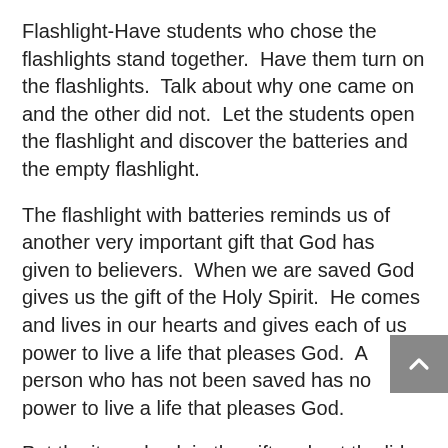Flashlight-Have students who chose the flashlights stand together.  Have them turn on the flashlights.  Talk about why one came on and the other did not.  Let the students open the flashlight and discover the batteries and the empty flashlight.
The flashlight with batteries reminds us of another very important gift that God has given to believers.  When we are saved God gives us the gift of the Holy Spirit.  He comes and lives in our hearts and gives each of us power to live a life that pleases God.  A person who has not been saved has no power to live a life that pleases God.
Put the items back in the gift and put the lid